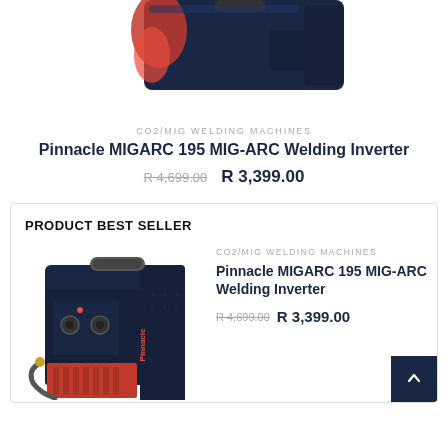[Figure (photo): Top portion of Pinnacle MIGARC 195 MIG-ARC Welding Inverter – dark blue machine with red component visible, top view cropped]
CO2/MIG WELDING MACHINES
Pinnacle MIGARC 195 MIG-ARC Welding Inverter
R 4,699.00   R 3,399.00
PRODUCT BEST SELLER
[Figure (photo): Pinnacle MIGARC 195 MIG-ARC Welding Inverter – dark blue welding machine with red wire feed, front-facing view with Pinnacle branding]
CO2/MIG WELDING MACHINES
Pinnacle MIGARC 195 MIG-ARC Welding Inverter
R 4,699.00   R 3,399.00